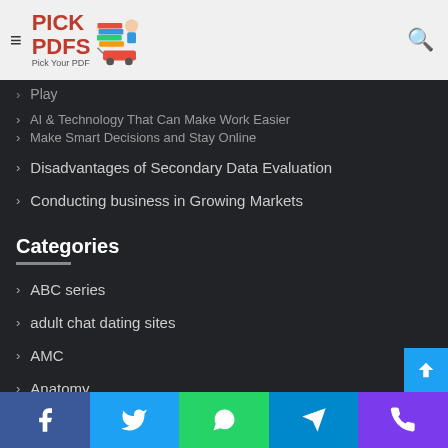Pick PDFs — Pick Your PDF
Disadvantages of Secondary Data Evaluation
Conducting business in Growing Markets
Categories
ABC series
adult chat dating sites
AMC
Anatomy
Anesthesiology
best mail order brides
Facebook · Twitter · WhatsApp · Telegram · Phone